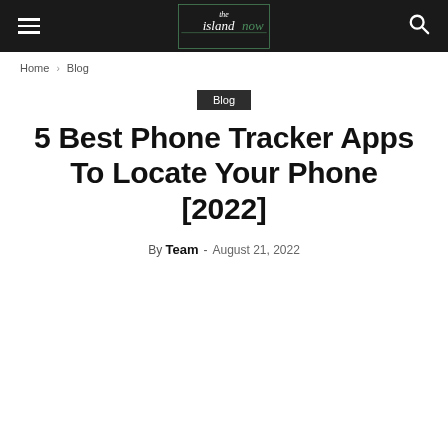the islandnow
Home › Blog
Blog
5 Best Phone Tracker Apps To Locate Your Phone [2022]
By Team - August 21, 2022
[Figure (other): Empty white image placeholder area below the byline]